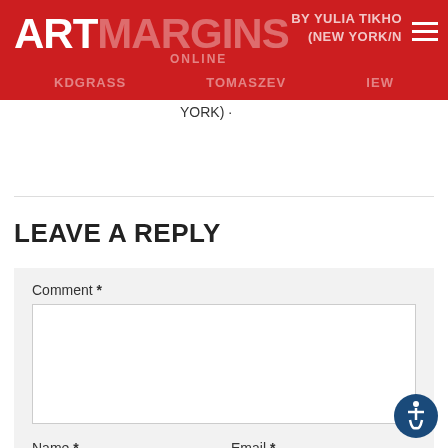ART MARGINS ONLINE — YULIA TIKHOMIROVA (NEW YORK/NY) — DGRASS — TOMASZEWSKI — REVIEW
YORK) ·
LEAVE A REPLY
Comment * [text area] Name * [input] Email * [input] Website [input]